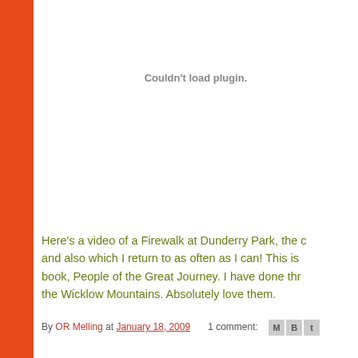[Figure (other): Browser plugin error placeholder showing 'Couldn't load plugin.' message in gray text]
Here's a video of a Firewalk at Dunderry Park, the and also which I return to as often as I can! This is book, People of the Great Journey. I have done thr the Wicklow Mountains. Absolutely love them.
By OR Melling at January 18, 2009   1 comment: